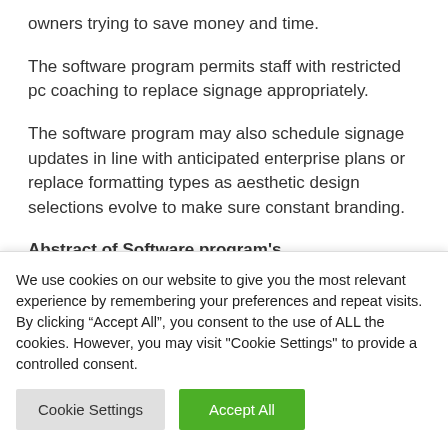owners trying to save money and time.
The software program permits staff with restricted pc coaching to replace signage appropriately.
The software program may also schedule signage updates in line with anticipated enterprise plans or replace formatting types as aesthetic design selections evolve to make sure constant branding.
Abstract of Software program's
We use cookies on our website to give you the most relevant experience by remembering your preferences and repeat visits. By clicking “Accept All”, you consent to the use of ALL the cookies. However, you may visit "Cookie Settings" to provide a controlled consent.